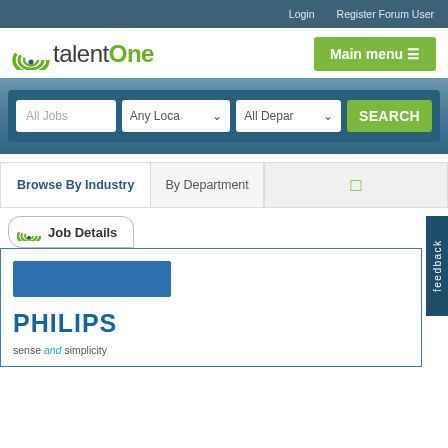Login   Register Forum User
[Figure (logo): talentOne logo with rainbow arc icon]
Main menu
All Jobs   Any Location   All Departments   SEARCH
Browse By Industry   By Department
Job Details
[Figure (logo): Philips logo - blue rectangle placeholder above PHILIPS text with tagline: sense and simplicity]